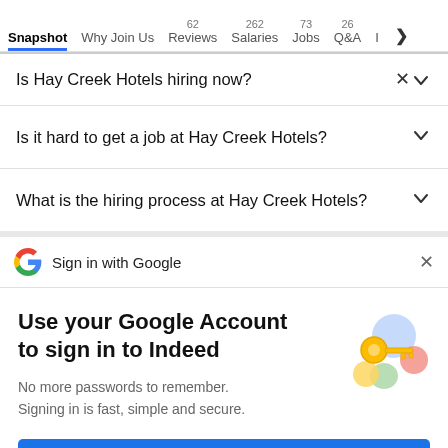Snapshot  Why Join Us  62 Reviews  262 Salaries  73 Jobs  26 Q&A  I >
Is Hay Creek Hotels hiring now?
Is it hard to get a job at Hay Creek Hotels?
What is the hiring process at Hay Creek Hotels?
Sign in with Google
Use your Google Account to sign in to Indeed
No more passwords to remember. Signing in is fast, simple and secure.
Continue